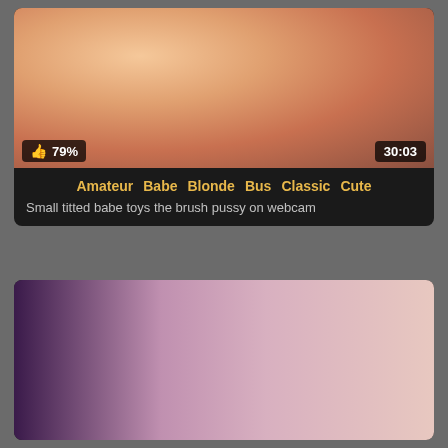[Figure (photo): Video thumbnail showing a blonde woman lying down, with purple/pink background. Overlay shows 79% like rating and 30:03 duration.]
Amateur  Babe  Blonde  Bus  Classic  Cute
Small titted babe toys the brush pussy on webcam
[Figure (photo): Video thumbnail showing a dark-haired woman with purple background lighting, partially cropped.]